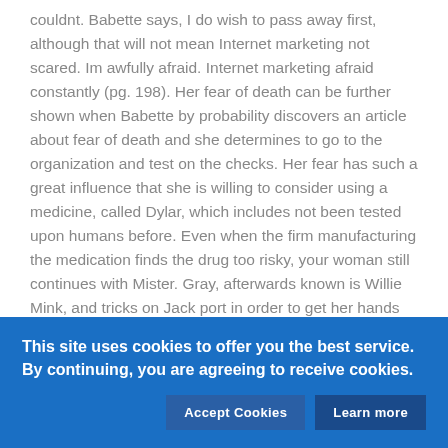couldnt. Babette says, I do wish to pass away first, although that will not mean Internet marketing not scared. Im awfully afraid. Internet marketing afraid constantly (pg. 198). Her fear of death can be further shown when Babette by probability discovers an article about fear of death and she determines to go to the organization and test on the checks. Her fear has such a great influence that she is willing to consider using a medicine, called Dylar, which includes not been tested upon humans before. Even when the firm manufacturing the medication finds the drug too risky, your woman still continues with Mister. Gray, afterwards known is Willie Mink, and tricks on Jack port in order to get her hands on any kind of means of steering clear of her anxiety about death.
DeLillo also portrays many of the other characters inside the novel as people who concerns death significantly, no matter their age or background. In the chapters near to the middle of the new, starting from twenty-one, DeLillo uses the situation of
This site uses cookies to offer you the best service. By continuing, you are agreeing to receive cookies.